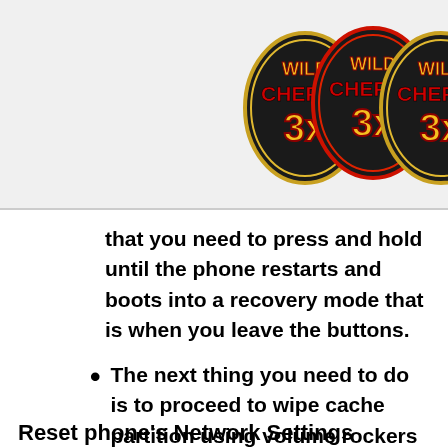[Figure (logo): Three Wild Cherry 3x slot machine logos/badges in red, gold, and black colors, partially cropped at right edge]
that you need to press and hold until the phone restarts and boots into a recovery mode that is when you leave the buttons.
The next thing you need to do is to proceed to wipe cache partition using volume rockers as navigational keys and the power button as the selection key.
Reset phone's Network Settings